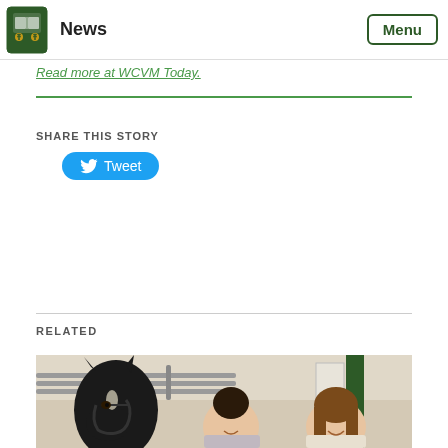News | Menu
They're very good ambassadors.
Read more at WCVM Today.
SHARE THIS STORY
Tweet
RELATED
[Figure (photo): Two women smiling next to a dark horse in a stable/barn setting with metal pipe railings and a green door frame.]